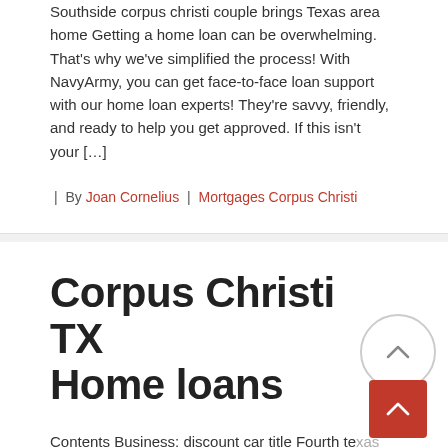Southside corpus christi couple brings Texas area home Getting a home loan can be overwhelming. That's why we've simplified the process! With NavyArmy, you can get face-to-face loan support with our home loan experts! They're savvy, friendly, and ready to help you get approved. If this isn't your […]
| By Joan Cornelius | Mortgages Corpus Christi
Corpus Christi TX Home loans
Contents Business: discount car title Fourth texas state veterans Additional local restrictions; san antonio Veterans home loans Usda home loans